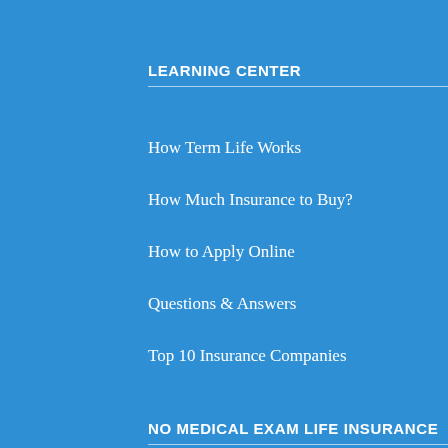LEARNING CENTER
How Term Life Works
How Much Insurance to Buy?
How to Apply Online
Questions & Answers
Top 10 Insurance Companies
NO MEDICAL EXAM LIFE INSURANCE
Term Life No Exam
Over 70 Life Insurance
Guaranteed Issue